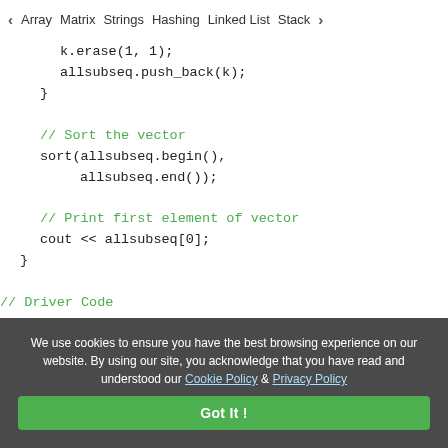< Array   Matrix   Strings   Hashing   Linked List   Stack >
k.erase(1, 1);
        allsubseq.push_back(k);
    }

    // Sort the vector
    sort(allsubseq.begin(),
         allsubseq.end());

    // Print first element of vector
    cout << allsubseq[0];
}

// Driver Code
int main()
{
    // Given string S
We use cookies to ensure you have the best browsing experience on our website. By using our site, you acknowledge that you have read and understood our Cookie Policy & Privacy Policy
Got It !